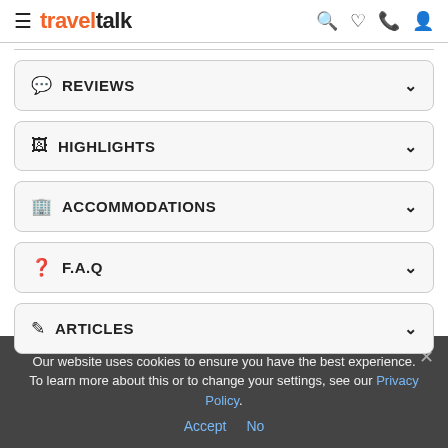traveltalk
REVIEWS
HIGHLIGHTS
ACCOMMODATIONS
F.A.Q
ARTICLES
Our website uses cookies to ensure you have the best experience. To learn more about this or to change your settings, see our Privacy Policy.
Accept  No